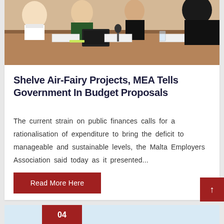[Figure (photo): People seated at a conference/meeting table with computers and name placards, shot from slightly above angle]
Shelve Air-Fairy Projects, MEA Tells Government In Budget Proposals
The current strain on public finances calls for a rationalisation of expenditure to bring the deficit to manageable and sustainable levels, the Malta Employers Association said today as it presented...
Read More Here